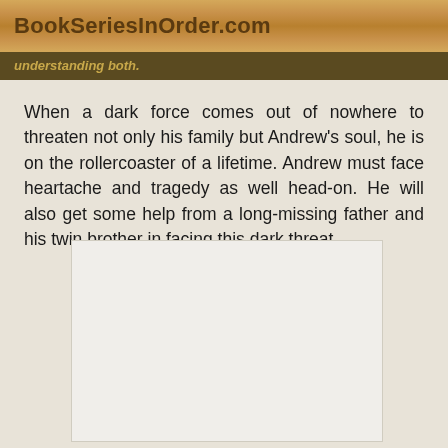BookSeriesInOrder.com
understanding both.
When a dark force comes out of nowhere to threaten not only his family but Andrew's soul, he is on the rollercoaster of a lifetime. Andrew must face heartache and tragedy as well head-on. He will also get some help from a long-missing father and his twin brother in facing this dark threat.
[Figure (other): Book cover image placeholder, white/light grey rectangle]